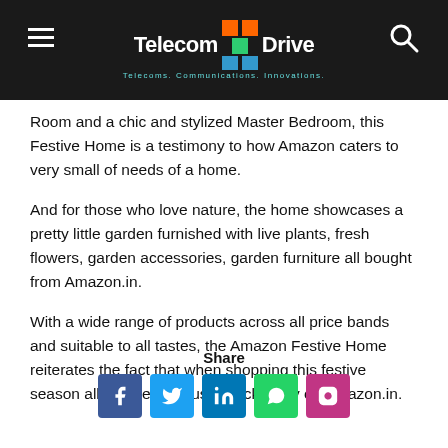TelecomDrive — Telecoms. Communications. Innovations.
Room and a chic and stylized Master Bedroom, this Festive Home is a testimony to how Amazon caters to very small of needs of a home.
And for those who love nature, the home showcases a pretty little garden furnished with live plants, fresh flowers, garden accessories, garden furniture all bought from Amazon.in.
With a wide range of products across all price bands and suitable to all tastes, the Amazon Festive Home reiterates the fact that when shopping this festive season all you need is just a click away on Amazon.in.
Share